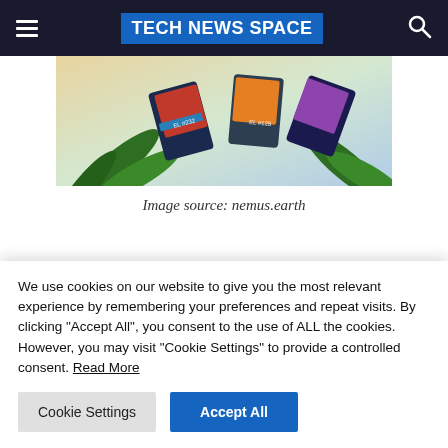TECH NEWS SPACE
[Figure (photo): Hero image showing NFT trading cards with palm leaves on a light background, colorful digital artworks]
Image source: nemus.earth
NFTs are crypto assets with a digital signature that guarantees their
We use cookies on our website to give you the most relevant experience by remembering your preferences and repeat visits. By clicking "Accept All", you consent to the use of ALL the cookies. However, you may visit "Cookie Settings" to provide a controlled consent. Read More